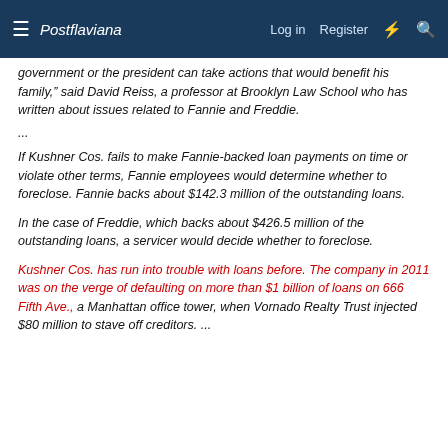Postflaviana  Log in  Register
government or the president can take actions that would benefit his family," said David Reiss, a professor at Brooklyn Law School who has written about issues related to Fannie and Freddie.
...
If Kushner Cos. fails to make Fannie-backed loan payments on time or violate other terms, Fannie employees would determine whether to foreclose. Fannie backs about $142.3 million of the outstanding loans.
In the case of Freddie, which backs about $426.5 million of the outstanding loans, a servicer would decide whether to foreclose.
Kushner Cos. has run into trouble with loans before. The company in 2011 was on the verge of defaulting on more than $1 billion of loans on 666 Fifth Ave., a Manhattan office tower, when Vornado Realty Trust injected $80 million to stave off creditors. ...